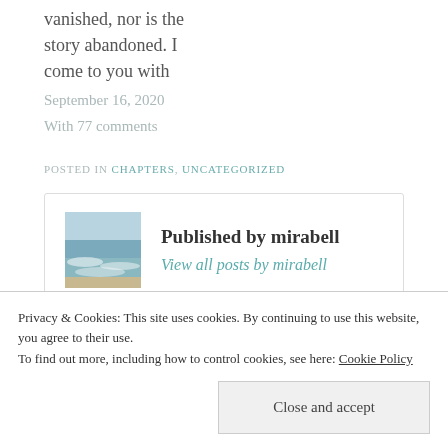vanished, nor is the story abandoned. I come to you with
September 16, 2020
With 77 comments
POSTED IN CHAPTERS, UNCATEGORIZED
Published by mirabell
View all posts by mirabell
Privacy & Cookies: This site uses cookies. By continuing to use this website, you agree to their use.
To find out more, including how to control cookies, see here: Cookie Policy
Close and accept